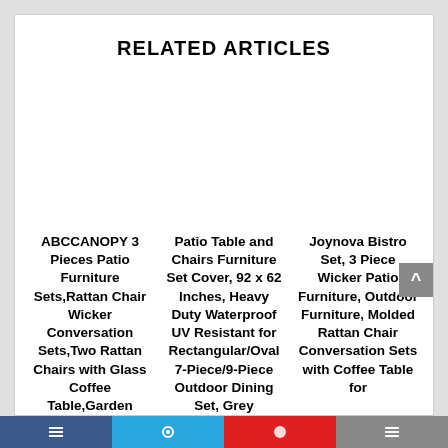RELATED ARTICLES
ABCCANOPY 3 Pieces Patio Furniture Sets,Rattan Chair Wicker Conversation Sets,Two Rattan Chairs with Glass Coffee Table,Garden Balcony
Patio Table and Chairs Furniture Set Cover, 92 x 62 Inches, Heavy Duty Waterproof UV Resistant for Rectangular/Oval 7-Piece/9-Piece Outdoor Dining Set, Grey
Joynova Bistro Set, 3 Piece Wicker Patio Furniture, Outdoor Furniture, Molded Rattan Chair Conversation Sets with Coffee Table for